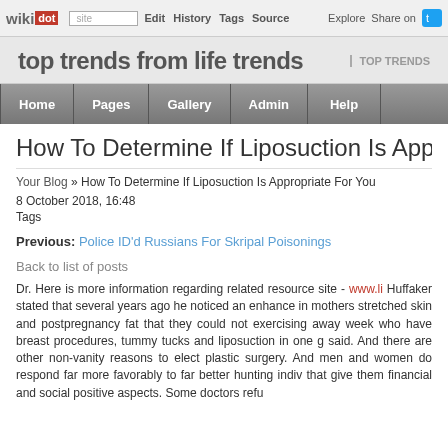wikidot | site | Edit | History | Tags | Source | Explore | Share on [Twitter]
top trends from life trends | TOP TRENDS
Home | Pages | Gallery | Admin | Help
How To Determine If Liposuction Is Appro...
Your Blog » How To Determine If Liposuction Is Appropriate For You
8 October 2018, 16:48
Tags
Previous: Police ID'd Russians For Skripal Poisonings
Back to list of posts
Dr. Here is more information regarding related resource site - www.li... Huffaker stated that several years ago he noticed an enhance in mothers stretched skin and postpregnancy fat that they could not exercising away week who have breast procedures, tummy tucks and liposuction in one g said. And there are other non-vanity reasons to elect plastic surgery. And men and women do respond far more favorably to far better hunting indiv that give them financial and social positive aspects. Some doctors refu...